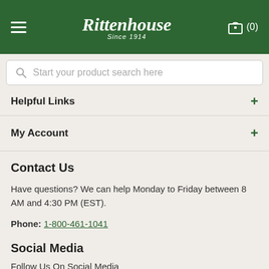Rittenhouse Since 1914 — navigation header with hamburger menu and cart (0)
Start your product search here
Helpful Links +
My Account +
Contact Us
Have questions? We can help Monday to Friday between 8 AM and 4:30 PM (EST).
Phone: 1-800-461-1041
Social Media
Follow Us On Social Media